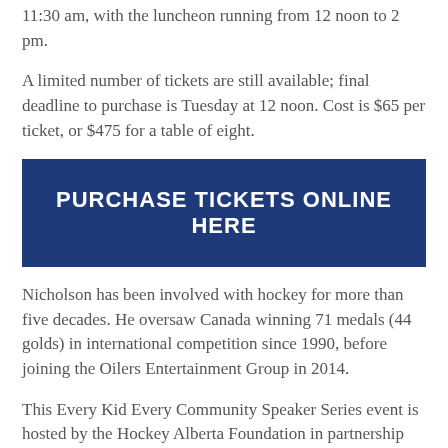11:30 am, with the luncheon running from 12 noon to 2 pm.
A limited number of tickets are still available; final deadline to purchase is Tuesday at 12 noon. Cost is $65 per ticket, or $475 for a table of eight.
PURCHASE TICKETS ONLINE HERE
Nicholson has been involved with hockey for more than five decades. He oversaw Canada winning 71 medals (44 golds) in international competition since 1990, before joining the Oilers Entertainment Group in 2014.
This Every Kid Every Community Speaker Series event is hosted by the Hockey Alberta Foundation in partnership with Hockey Alberta, the Red Deer Chamber of Commerce and the Oilers Entertainment Group, it is part of the Speaker...